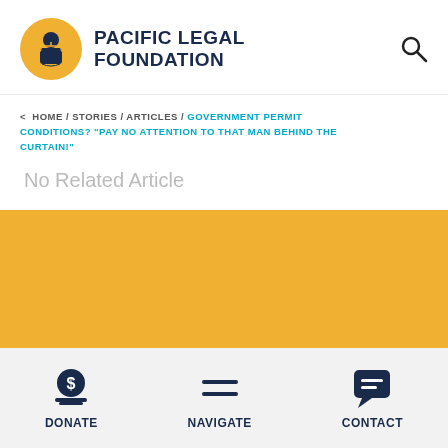[Figure (logo): Pacific Legal Foundation logo with yellow circle containing a figure and scales of justice, with bold navy text PACIFIC LEGAL FOUNDATION]
< HOME / STORIES / ARTICLES / GOVERNMENT PERMIT CONDITIONS? "PAY NO ATTENTION TO THAT MAN BEHIND THE CURTAIN!"
No Related Article
[Figure (illustration): Yellow/gold colored banner section]
DONATE   NAVIGATE   CONTACT